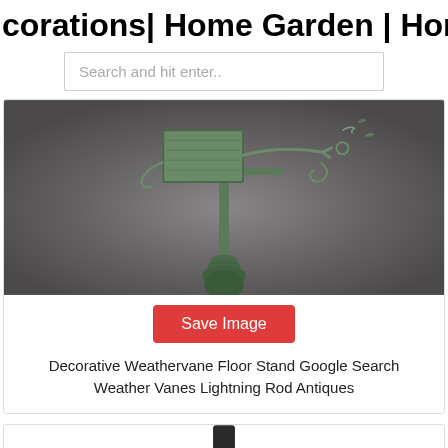corations| Home Garden | Home Fa…
Search and hit enter..
[Figure (photo): Photo of a decorative weathervane floor stand with verdigris green patina, featuring scrollwork and mounted on a decorative post base, against a gray background]
Save Image
Decorative Weathervane Floor Stand Google Search Weather Vanes Lightning Rod Antiques
[Figure (photo): Partial photo showing the top of a dark metal post or stand against a white background]